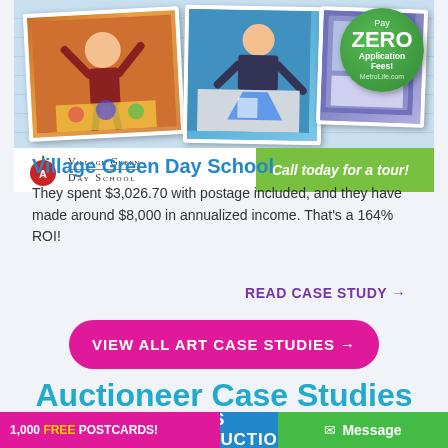[Figure (photo): Village Green Day School promotional card with photos of children doing art activities, green badge saying Pay ZERO Application Fees, school logo, and Call today for a tour banner]
Village Green Day School
They spent $3,026.70 with postage included, and they have made around $8,000 in annualized income. That's a 164% ROI!
READ CASE STUDY →
VIEW ALL ART CASE STUDIES →
Auctioneer Case Studies
1,000 FREE POSTCARDS!
Message
IS AUCTION